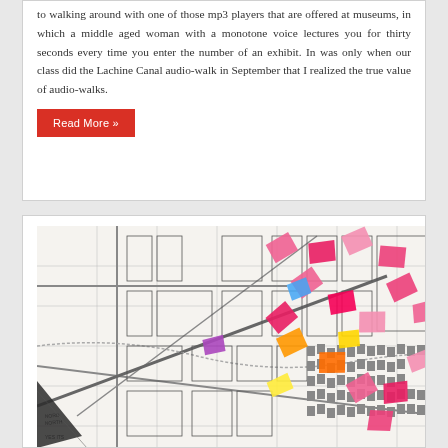to walking around with one of those mp3 players that are offered at museums, in which a middle aged woman with a monotone voice lectures you for thirty seconds every time you enter the number of an exhibit. In was only when our class did the Lachine Canal audio-walk in September that I realized the true value of audio-walks.
Read More »
[Figure (map): A black and white map with colorful sticky notes or paper flags placed on various locations across the map. The map shows a city grid with streets. The bottom left corner shows text reading NORD NORTH and YES ITS.]